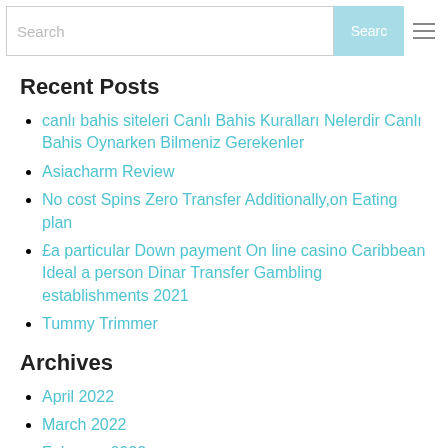Search gleneagle DENTAL CENTRE | Search
Recent Posts
canlı bahis siteleri Canlı Bahis Kuralları Nelerdir Canlı Bahis Oynarken Bilmeniz Gerekenler
Asiacharm Review
No cost Spins Zero Transfer Additionally,on Eating plan
£a particular Down payment On line casino Caribbean Ideal a person Dinar Transfer Gambling establishments 2021
Tummy Trimmer
Archives
April 2022
March 2022
February 2022
January 2022